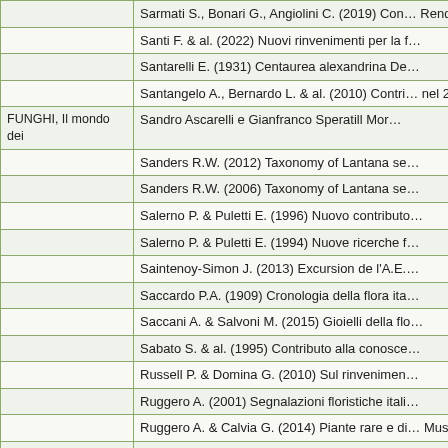|  | Reference |
| --- | --- |
|  | Sarmati S., Bonari G., Angiolini C. (2019) Con… Rendiconti Lincei. Scienze Fisiche e Naturali 3… |
|  | Santi F. & al. (2022) Nuovi rinvenimenti per la f… |
|  | Santarelli E. (1931) Centaurea alexandrina De… |
|  | Santangelo A., Bernardo L. & al. (2010) Contri… nel 2007. Informatore Botanico Italiano 42(1): … |
| FUNGHI, Il mondo dei | Sandro Ascarelli e Gianfranco Speratill Mor… |
|  | Sanders R.W. (2012) Taxonomy of Lantana se… |
|  | Sanders R.W. (2006) Taxonomy of Lantana se… |
|  | Salerno P. & Puletti E. (1996) Nuovo contributo… |
|  | Salerno P. & Puletti E. (1994) Nuove ricerche f… |
|  | Saintenoy-Simon J. (2013) Excursion de l'A.E.… |
|  | Saccardo P.A. (1909) Cronologia della flora ita… |
|  | Saccani A. & Salvoni M. (2015) Gioielli della flo… |
|  | Sabato S. & al. (1995) Contributo alla conoscen… |
|  | Russell P. & Domina G. (2010) Sul rinvenimen… |
|  | Ruggero A. (2001) Segnalazioni floristiche itali… |
|  | Ruggero A. & Calvia G. (2014) Piante rare e di… Museo Civico di Rovereto, sezione Archeologi… |
|  | Rottensteiner W.K. [Ed.] (2019) Notizen zur „F… |
|  | Rottensteiner W.K. [Ed.] (2018) Notizen zur „F… |